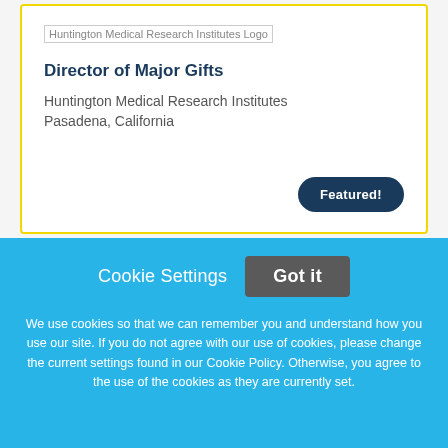[Figure (logo): Huntington Medical Research Institutes Logo placeholder image]
Director of Major Gifts
Huntington Medical Research Institutes
Pasadena, California
Featured!
Cookie Settings   Got it
We use cookies so that we can remember you and understand how you use our site. If you do not agree with our use of cookies, please change the current settings found in our Cookie Policy. Otherwise, you agree to the use of the cookies as they are currently set.